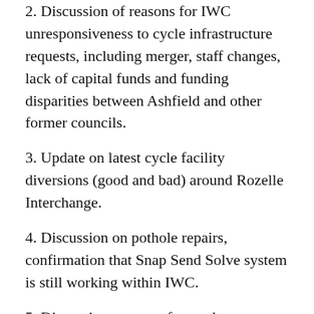2. Discussion of reasons for IWC unresponsiveness to cycle infrastructure requests, including merger, staff changes, lack of capital funds and funding disparities between Ashfield and other former councils.
3. Update on latest cycle facility diversions (good and bad) around Rozelle Interchange.
4. Discussion on pothole repairs, confirmation that Snap Send Solve system is still working within IWC.
5. Discussion on ways forward to get central lane logo placements progressed around former Ashfield municipality.